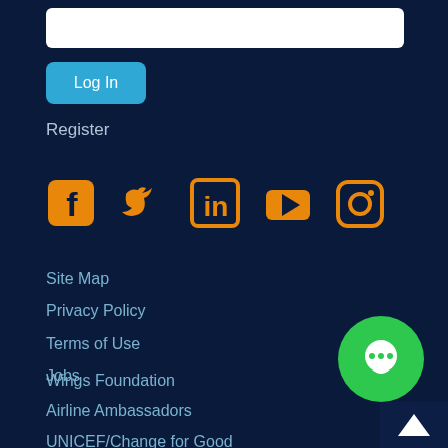[Figure (screenshot): White input text field for login]
[Figure (screenshot): Blue Log In button]
Register
[Figure (infographic): Social media icons: Facebook, Twitter, LinkedIn, YouTube, Instagram — all in orange color on dark navy background]
Site Map
Privacy Policy
Terms of Use
Jobs
[Figure (illustration): Green circular chat/message bubble button]
Wings Foundation
Airline Ambassadors
UNICEF/Change for Good
APA
[Figure (illustration): Scroll to top button with upward chevron arrow on dark background, bottom right corner]